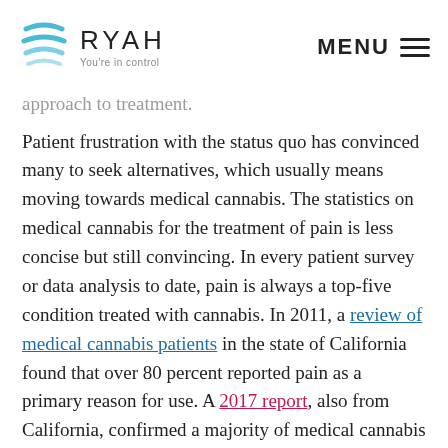RYAH — You're in control | MENU
approach to treatment.
Patient frustration with the status quo has convinced many to seek alternatives, which usually means moving towards medical cannabis. The statistics on medical cannabis for the treatment of pain is less concise but still convincing. In every patient survey or data analysis to date, pain is always a top-five condition treated with cannabis. In 2011, a review of medical cannabis patients in the state of California found that over 80 percent reported pain as a primary reason for use. A 2017 report, also from California, confirmed a majority of medical cannabis patients used the plant for pain. Pulling from our own RYAH Data platform, pain